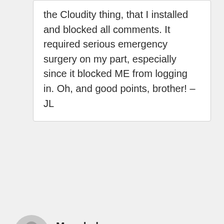the Cloudity thing, that installed and blocked all comments. It required serious emergency surgery on my part, especially since it blocked ME from logging in. Oh, and good points, brother! – JL
Mangledman
November 3, 2018 at 2:23 am
GOD has forbidden us to use violence?? Ever? How am I supposed to take care of widows and orphans if violence comes against them?? A